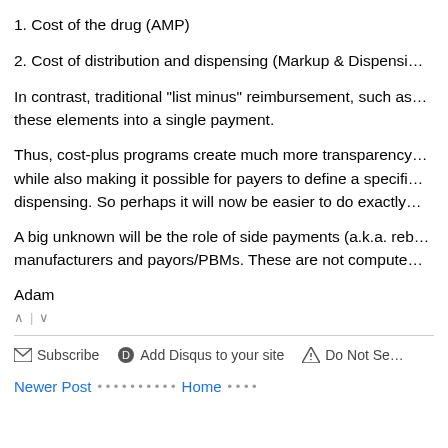1. Cost of the drug (AMP)
2. Cost of distribution and dispensing (Markup & Dispensi…
In contrast, traditional "list minus" reimbursement, such as… these elements into a single payment.
Thus, cost-plus programs create much more transparency… while also making it possible for payers to define a specifi… dispensing. So perhaps it will now be easier to do exactly…
A big unknown will be the role of side payments (a.k.a. reb… manufacturers and payors/PBMs. These are not compute…
Adam
Subscribe   Add Disqus to your site   Do Not Se…   Newer Post   Home